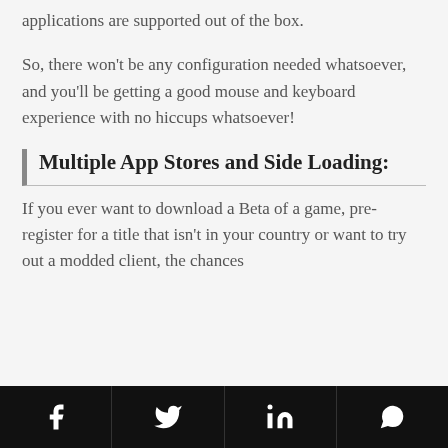applications are supported out of the box.
So, there won't be any configuration needed whatsoever, and you'll be getting a good mouse and keyboard experience with no hiccups whatsoever!
Multiple App Stores and Side Loading:
If you ever want to download a Beta of a game, pre-register for a title that isn't in your country or want to try out a modded client, the chances
Social share icons: Facebook, Twitter, LinkedIn, WhatsApp